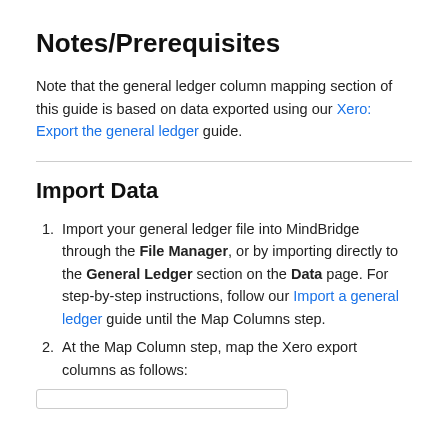Notes/Prerequisites
Note that the general ledger column mapping section of this guide is based on data exported using our Xero: Export the general ledger guide.
Import Data
Import your general ledger file into MindBridge through the File Manager, or by importing directly to the General Ledger section on the Data page. For step-by-step instructions, follow our Import a general ledger guide until the Map Columns step.
At the Map Column step, map the Xero export columns as follows: